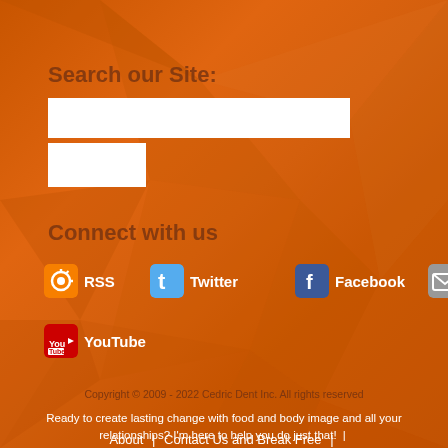Search our Site:
[Figure (screenshot): Search text input box and submit button on orange background]
Connect with us
RSS
Twitter
Facebook
Email
YouTube
Copyright © 2009 - 2022 Cedric Dent Inc. All rights reserved
Ready to create lasting change with food and body image and all your relationships? I'm here to help you do just that!
About | Contact Us and Break Free |